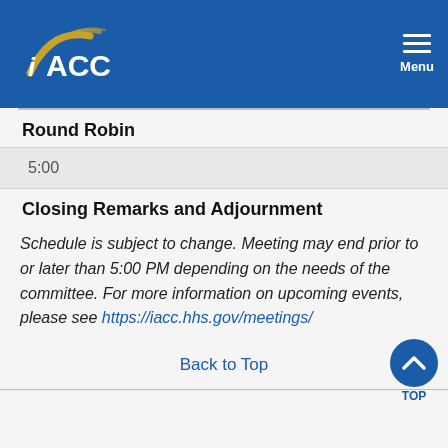IACC | Menu
Round Robin
5:00
Closing Remarks and Adjournment
Schedule is subject to change. Meeting may end prior to or later than 5:00 PM depending on the needs of the committee. For more information on upcoming events, please see https://iacc.hhs.gov/meetings/
Back to Top